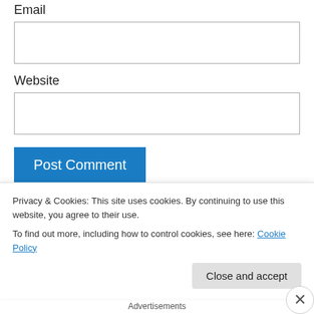Email
[Email input field]
Website
[Website input field]
Post Comment
Notify me of new comments via email.
Notify me of new posts via email.
Privacy & Cookies: This site uses cookies. By continuing to use this website, you agree to their use.
To find out more, including how to control cookies, see here: Cookie Policy
Close and accept
Advertisements